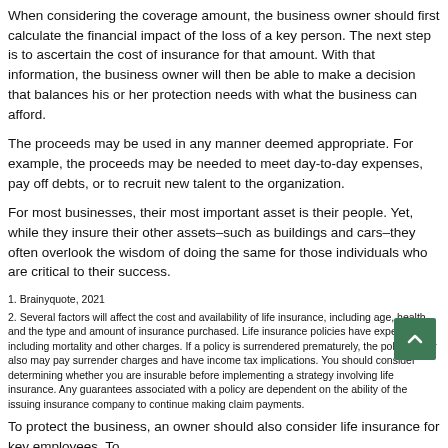When considering the coverage amount, the business owner should first calculate the financial impact of the loss of a key person. The next step is to ascertain the cost of insurance for that amount. With that information, the business owner will then be able to make a decision that balances his or her protection needs with what the business can afford.
The proceeds may be used in any manner deemed appropriate. For example, the proceeds may be needed to meet day-to-day expenses, pay off debts, or to recruit new talent to the organization.
For most businesses, their most important asset is their people. Yet, while they insure their other assets–such as buildings and cars–they often overlook the wisdom of doing the same for those individuals who are critical to their success.
1. Brainyquote, 2021
2. Several factors will affect the cost and availability of life insurance, including age, health, and the type and amount of insurance purchased. Life insurance policies have expenses, including mortality and other charges. If a policy is surrendered prematurely, the policyholder also may pay surrender charges and have income tax implications. You should consider determining whether you are insurable before implementing a strategy involving life insurance. Any guarantees associated with a policy are dependent on the ability of the issuing insurance company to continue making claim payments.
To protect the business, an owner should also consider life insurance for key employees. To